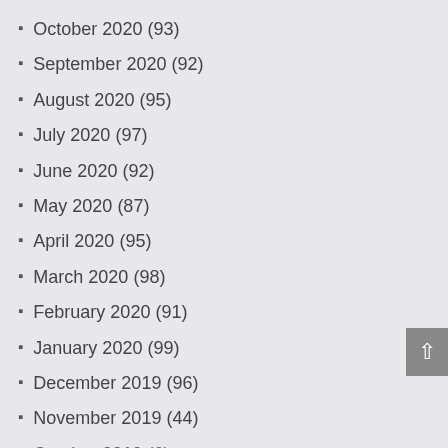October 2020 (93)
September 2020 (92)
August 2020 (95)
July 2020 (97)
June 2020 (92)
May 2020 (87)
April 2020 (95)
March 2020 (98)
February 2020 (91)
January 2020 (99)
December 2019 (96)
November 2019 (44)
October 2019 (6)